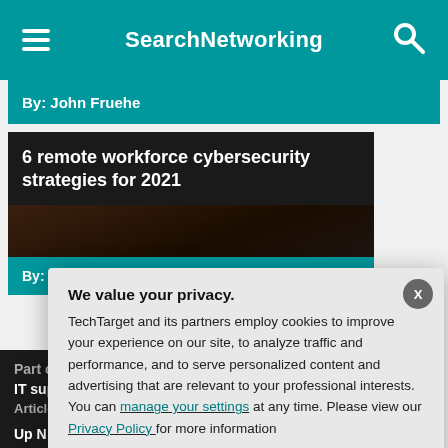SearchNetworking
By: John Fruehe
6 remote workforce cybersecurity strategies for 2021
By: Andrew Froel
Part of: IT suppor
Article 3 of 5
Up N
How t conn
We value your privacy.
TechTarget and its partners employ cookies to improve your experience on our site, to analyze traffic and performance, and to serve personalized content and advertising that are relevant to your professional interests. You can manage your settings at any time. Please view our Privacy Policy for more information